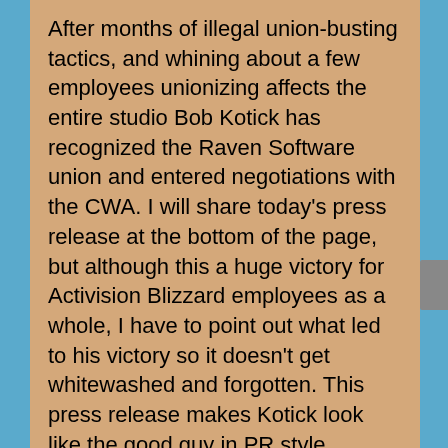After months of illegal union-busting tactics, and whining about a few employees unionizing affects the entire studio Bob Kotick has recognized the Raven Software union and entered negotiations with the CWA. I will share today's press release at the bottom of the page, but although this a huge victory for Activision Blizzard employees as a whole, I have to point out what led to his victory so it doesn't get whitewashed and forgotten. This press release makes Kotick look like the good guy in PR style.
These links provide the true picture. For ABetterABK!
Union-busting tactics...